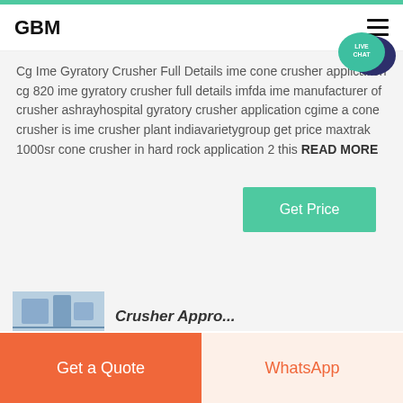GBM
Cg Ime Gyratory Crusher Full Details ime cone crusher application cg 820 ime gyratory crusher full details imfda ime manufacturer of crusher ashrayhospital gyratory crusher application cgime a cone crusher is ime crusher plant indiavarietygroup get price maxtrak 1000sr cone crusher in hard rock application 2 this READ MORE
[Figure (screenshot): Get Price button — green rectangle with white text]
[Figure (photo): Partial thumbnail image of industrial crusher equipment at bottom of page]
Get a Quote | WhatsApp